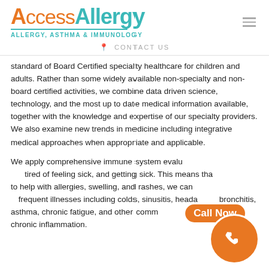[Figure (logo): AccessAllergy logo with orange 'Access' and teal 'Allergy' text, teal underline, subtitle 'ALLERGY, ASTHMA & IMMUNOLOGY']
CONTACT US
standard of Board Certified specialty healthcare for children and adults. Rather than some widely available non-specialty and non-board certified activities, we combine data driven science, technology, and the most up to date medical information available, together with the knowledge and expertise of our specialty providers. We also examine new trends in medicine including integrative medical approaches when appropriate and applicable.
We apply comprehensive immune system evalu... tired of feeling sick, and getting sick. This means tha... to help with allergies, swelling, and rashes, we can... frequent illnesses including colds, sinusitis, heada... bronchitis, asthma, chronic fatigue, and other comm... that involve chronic inflammation.
[Figure (other): Orange 'Call Now' button with phone icon circle overlay in bottom right corner]